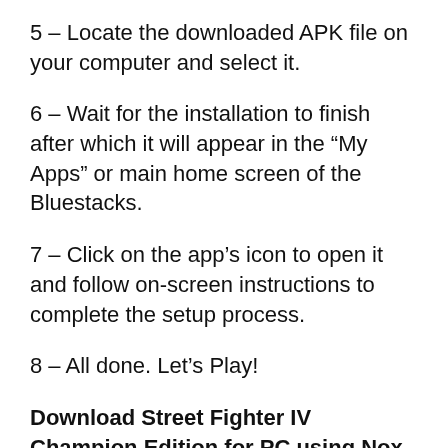5 – Locate the downloaded APK file on your computer and select it.
6 – Wait for the installation to finish after which it will appear in the “My Apps” or main home screen of the Bluestacks.
7 – Click on the app’s icon to open it and follow on-screen instructions to complete the setup process.
8 – All done. Let’s Play!
Download Street Fighter IV Champion Edition for PC using Nox App Player – Windows & MAC